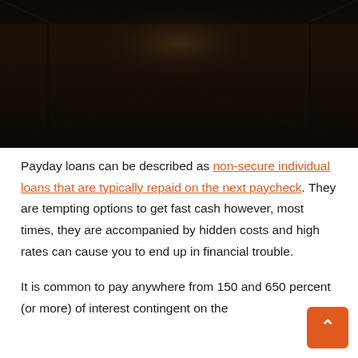[Figure (photo): Dark interior corridor or hallway photo, very low light, dark brown and black tones]
Payday loans can be described as non-secure individual loans that are typically repaid on the next paycheck. They are tempting options to get fast cash however, most times, they are accompanied by hidden costs and high rates can cause you to end up in financial trouble.
It is common to pay anywhere from 150 and 650 percent (or more) of interest contingent on the